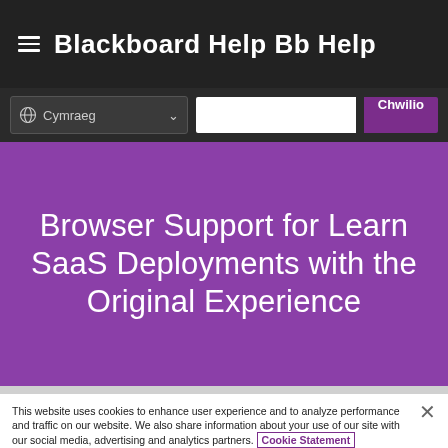Blackboard Help Bb Help
Browser Support for Learn SaaS Deployments with the Original Experience
This website uses cookies to enhance user experience and to analyze performance and traffic on our website. We also share information about your use of our site with our social media, advertising and analytics partners. Cookie Statement